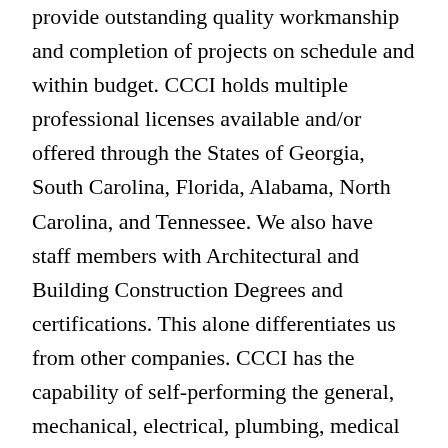provide outstanding quality workmanship and completion of projects on schedule and within budget. CCCI holds multiple professional licenses available and/or offered through the States of Georgia, South Carolina, Florida, Alabama, North Carolina, and Tennessee. We also have staff members with Architectural and Building Construction Degrees and certifications. This alone differentiates us from other companies. CCCI has the capability of self-performing the general, mechanical, electrical, plumbing, medical gas, site utilities, etc. should the need arise. As a woman-owned Small Business, CCCI believes supporting local communities and we have a history of using minority and women-owned small businesses. Here at CCCI our motto is “SAFETY FIRST!” Our first concern is the safety and well being of